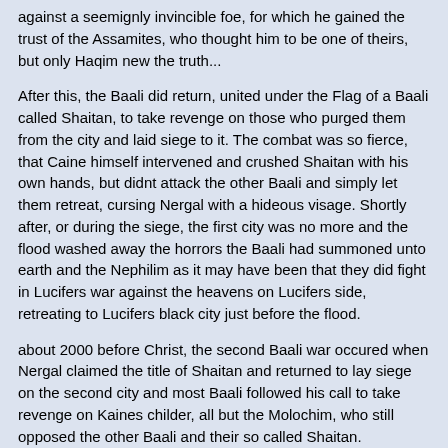against a seemignly invincible foe, for which he gained the trust of the Assamites, who thought him to be one of theirs, but only Haqim new the truth...
After this, the Baali did return, united under the Flag of a Baali called Shaitan, to take revenge on those who purged them from the city and laid siege to it. The combat was so fierce, that Caine himself intervened and crushed Shaitan with his own hands, but didnt attack the other Baali and simply let them retreat, cursing Nergal with a hideous visage. Shortly after, or during the siege, the first city was no more and the flood washed away the horrors the Baali had summoned unto earth and the Nephilim as it may have been that they did fight in Lucifers war against the heavens on Lucifers side, retreating to Lucifers black city just before the flood.
about 2000 before Christ, the second Baali war occured when Nergal claimed the title of Shaitan and returned to lay siege on the second city and most Baali followed his call to take revenge on Kaines childer, all but the Molochim, who still opposed the other Baali and their so called Shaitan.
Indeed it turned out, that Nergal staged his banishment by the Lasombra with the help of his own childer, and made the Dhabi betray him to buy more time. And time he had, enough to errect Baali strongholds in Knossos and Crete, as well as in Gallilee namely Chorazon where he tried to awaken Namtaru once again.
Moloch did learn about this however, and warned the other Clans about what happened and once again MOLOCH managed to unite all 13 clans behind him to fight Nergals loyalists. The fights were fierce, and